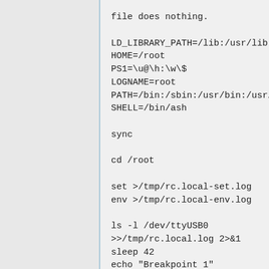file does nothing.

LD_LIBRARY_PATH=/lib:/usr/lib:/
HOME=/root
PS1=\u@\h:\w\$
LOGNAME=root
PATH=/bin:/sbin:/usr/bin:/usr/s
SHELL=/bin/ash

sync

cd /root

set >/tmp/rc.local-set.log
env >/tmp/rc.local-env.log

ls -l /dev/ttyUSB0
>>/tmp/rc.local.log 2>&1
sleep 42
echo "Breakpoint 1"
>>/tmp/rc.local.log 2>&1
/etc/init.d/thermod start
>>/tmp/rc.local.log 2>&1

sleep 2